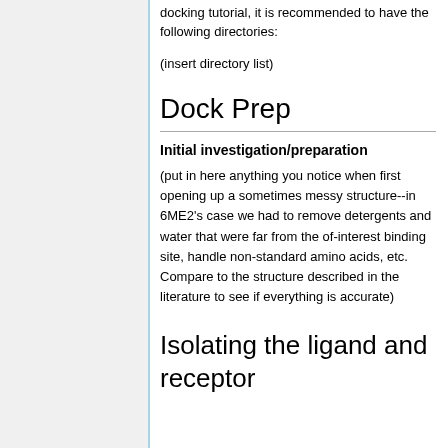docking tutorial, it is recommended to have the following directories:
(insert directory list)
Dock Prep
Initial investigation/preparation
(put in here anything you notice when first opening up a sometimes messy structure--in 6ME2's case we had to remove detergents and water that were far from the of-interest binding site, handle non-standard amino acids, etc. Compare to the structure described in the literature to see if everything is accurate)
Isolating the ligand and receptor